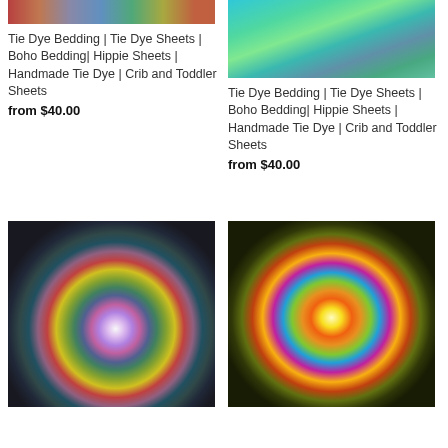[Figure (photo): Partial top image of tie dye bedding, left product]
[Figure (photo): Tie dye bedding pillow/bolster in teal and green colors, right product top]
Tie Dye Bedding | Tie Dye Sheets | Boho Bedding| Hippie Sheets | Handmade Tie Dye | Crib and Toddler Sheets
from $40.00
Tie Dye Bedding | Tie Dye Sheets | Boho Bedding| Hippie Sheets | Handmade Tie Dye | Crib and Toddler Sheets
from $40.00
[Figure (photo): Spiral tie dye bedding set in purple, blue, green, pink on a bed]
[Figure (photo): Spiral tie dye bedding set in rainbow colors yellow orange red green on floor]